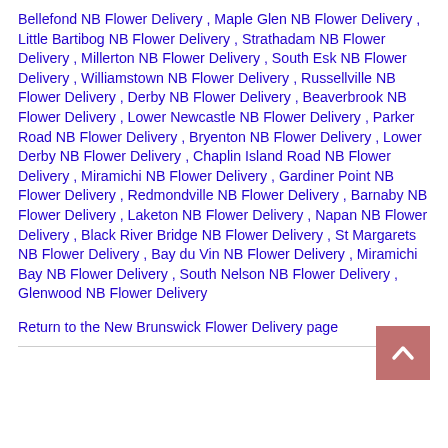Bellefond NB Flower Delivery , Maple Glen NB Flower Delivery , Little Bartibog NB Flower Delivery , Strathadam NB Flower Delivery , Millerton NB Flower Delivery , South Esk NB Flower Delivery , Williamstown NB Flower Delivery , Russellville NB Flower Delivery , Derby NB Flower Delivery , Beaverbrook NB Flower Delivery , Lower Newcastle NB Flower Delivery , Parker Road NB Flower Delivery , Bryenton NB Flower Delivery , Lower Derby NB Flower Delivery , Chaplin Island Road NB Flower Delivery , Miramichi NB Flower Delivery , Gardiner Point NB Flower Delivery , Redmondville NB Flower Delivery , Barnaby NB Flower Delivery , Laketon NB Flower Delivery , Napan NB Flower Delivery , Black River Bridge NB Flower Delivery , St Margarets NB Flower Delivery , Bay du Vin NB Flower Delivery , Miramichi Bay NB Flower Delivery , South Nelson NB Flower Delivery , Glenwood NB Flower Delivery
Return to the New Brunswick Flower Delivery page